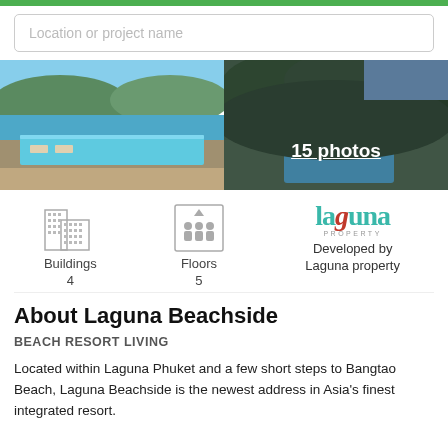[Figure (screenshot): Search bar with placeholder text 'Location or project name']
[Figure (photo): Left photo: aerial/rendered view of a beachside resort with infinity pool overlooking sea]
[Figure (photo): Right photo: aerial view of tropical resort surrounded by trees, with overlay text '15 photos']
[Figure (infographic): Building icon with label 'Buildings' and value '4']
[Figure (infographic): Elevator/floors icon with label 'Floors' and value '5']
[Figure (logo): Laguna Property logo with text 'laguna PROPERTY']
Developed by
Laguna property
About Laguna Beachside
BEACH RESORT LIVING
Located within Laguna Phuket and a few short steps to Bangtao Beach, Laguna Beachside is the newest address in Asia's finest integrated resort.